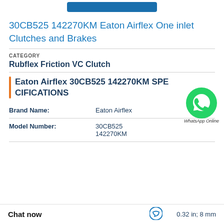[Figure (other): Blue button/header bar at top of page]
30CB525 142270KM Eaton Airflex One inlet Clutches and Brakes
CATEGORY
Rubflex Friction VC Clutch
Eaton Airflex 30CB525 142270KM SPE CIFICATIONS
[Figure (logo): WhatsApp green phone icon bubble with 'WhatsApp Online' label]
| Attribute | Value |
| --- | --- |
| Brand Name: | Eaton Airflex |
| Model Number: | 30CB525 142270KM |
|  | 0.32 in; 8 mm |
Chat now